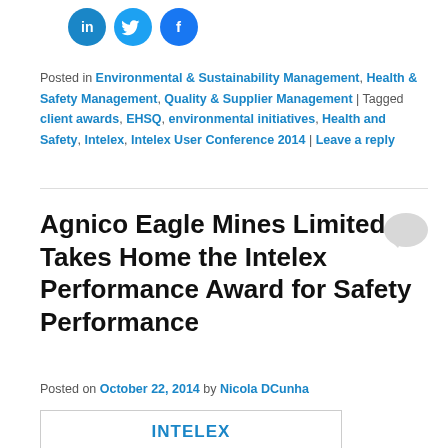[Figure (other): Three social media icon buttons: LinkedIn (blue circle with 'in'), Twitter (blue circle with bird), Facebook (blue circle with 'f')]
Posted in Environmental & Sustainability Management, Health & Safety Management, Quality & Supplier Management | Tagged client awards, EHSQ, environmental initiatives, Health and Safety, Intelex, Intelex User Conference 2014 | Leave a reply
Agnico Eagle Mines Limited Takes Home the Intelex Performance Award for Safety Performance
Posted on October 22, 2014 by Nicola DCunha
[Figure (logo): Intelex Performance award logo box showing 'INTELEX' and 'PERFORMANCE' in bold blue text]